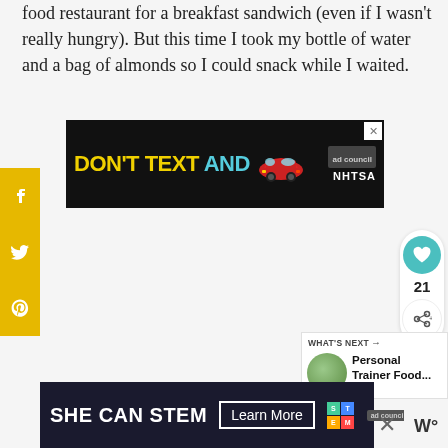food restaurant for a breakfast sandwich (even if I wasn't really hungry). But this time I took my bottle of water and a bag of almonds so I could snack while I waited.
[Figure (screenshot): Advertisement banner: DON'T TEXT AND [car emoji] ad council NHTSA on black background with yellow and cyan text]
[Figure (infographic): Social media sharing sidebar with Facebook, Twitter, and Pinterest icons on yellow/gold background]
[Figure (infographic): Like button (heart, teal circle) showing count 21, and share button]
[Figure (screenshot): WHAT'S NEXT arrow widget showing Personal Trainer Food... with circular food image]
[Figure (screenshot): SHE CAN STEM | Learn More advertisement banner with ad council logo on dark background]